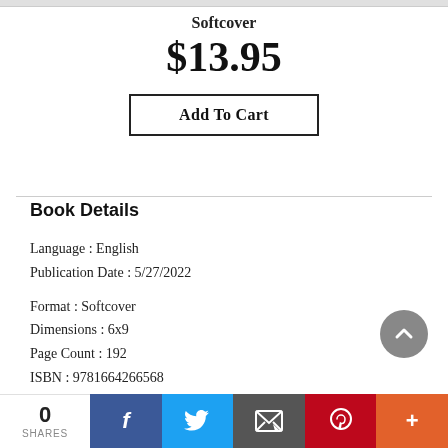Softcover
$13.95
Add To Cart
Book Details
Language : English
Publication Date : 5/27/2022
Format : Softcover
Dimensions : 6x9
Page Count : 192
ISBN : 9781664266568
0 SHARES  [Facebook] [Twitter] [Email] [Pinterest] [More]